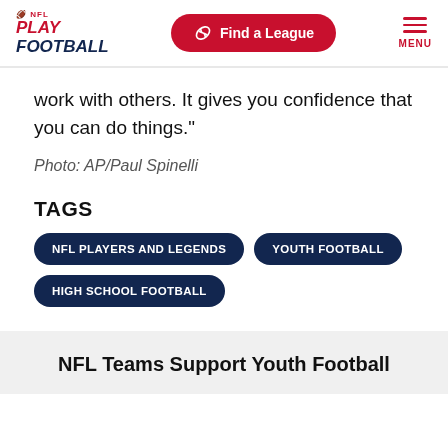NFL Play Football - Find a League - MENU
work with others. It gives you confidence that you can do things."
Photo: AP/Paul Spinelli
TAGS
NFL PLAYERS AND LEGENDS
YOUTH FOOTBALL
HIGH SCHOOL FOOTBALL
NFL Teams Support Youth Football